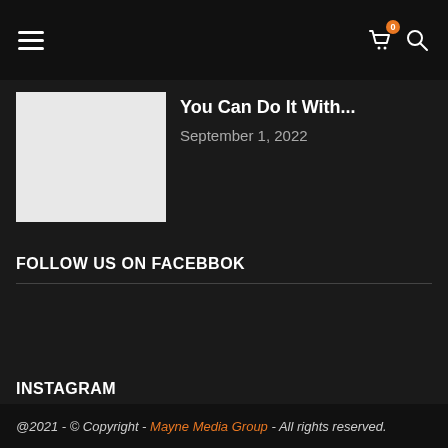Navigation bar with hamburger menu, cart icon (badge: 0), and search icon
You Can Do It With...
September 1, 2022
FOLLOW US ON FACEBBOK
INSTAGRAM
@2021 - © Copyright - Mayne Media Group - All rights reserved.